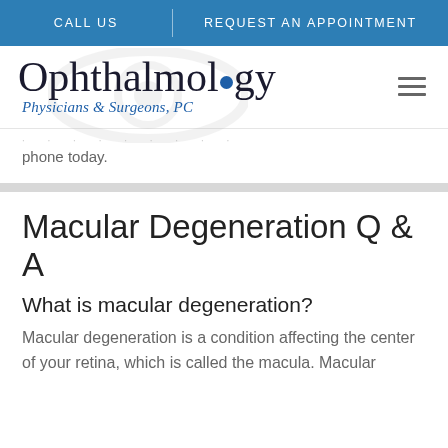CALL US | REQUEST AN APPOINTMENT
[Figure (logo): Ophthalmology Physicians & Surgeons, PC logo with eye watermark and blue dot in the word Ophthalmology]
phone today.
Macular Degeneration Q & A
What is macular degeneration?
Macular degeneration is a condition affecting the center of your retina, which is called the macula. Macular